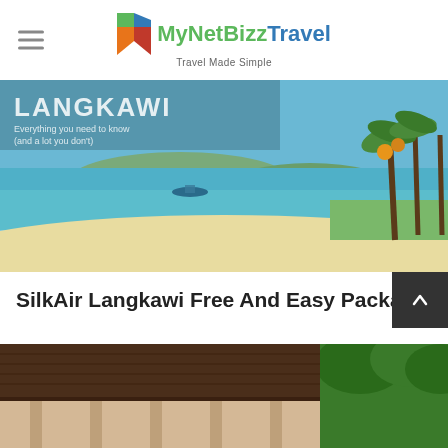[Figure (logo): MyNetBizz Travel logo with colorful geometric icon and tagline 'Travel Made Simple']
[Figure (photo): Langkawi beach scene with turquoise water, white sand, and palm trees. Text overlay reads 'LANGKAWI - Everything you need to know (and a lot you don't)']
SilkAir Langkawi Free And Easy Package
[Figure (photo): Tropical resort exterior with thatched roof and lush green jungle in background]